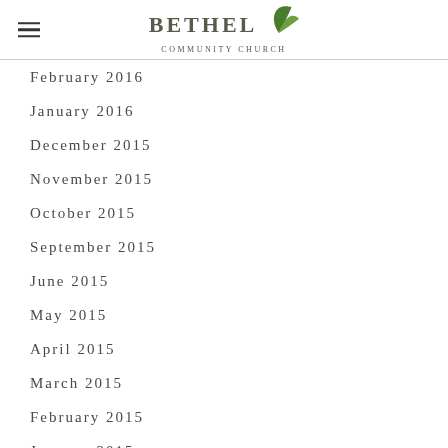BETHEL COMMUNITY CHURCH
February 2016
January 2016
December 2015
November 2015
October 2015
September 2015
June 2015
May 2015
April 2015
March 2015
February 2015
January 2015
[Figure (illustration): Orange circular email button with envelope icon]